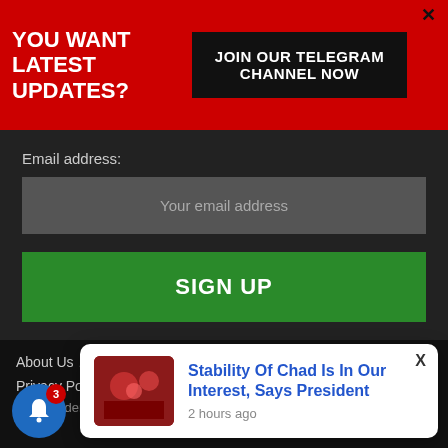YOU WANT LATEST UPDATES?
JOIN OUR TELEGRAM CHANNEL NOW
Email address:
Your email address
SIGN UP
About Us / Advertise with Us / Contact Us / Disclaimer / Privacy Policy /
Stability Of Chad Is In Our Interest, Says President
2 hours ago